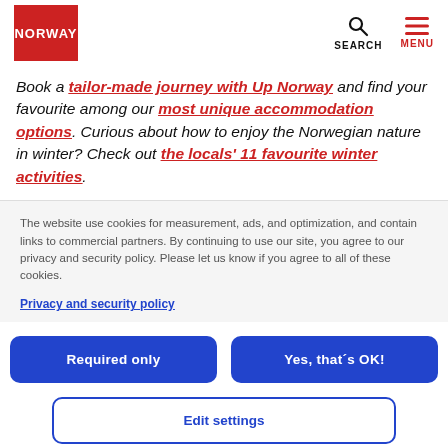NORWAY | SEARCH | MENU
Book a tailor-made journey with Up Norway and find your favourite among our most unique accommodation options. Curious about how to enjoy the Norwegian nature in winter? Check out the locals' 11 favourite winter activities.
The website use cookies for measurement, ads, and optimization, and contain links to commercial partners. By continuing to use our site, you agree to our privacy and security policy. Please let us know if you agree to all of these cookies.
Privacy and security policy
Required only
Yes, that´s OK!
Edit settings